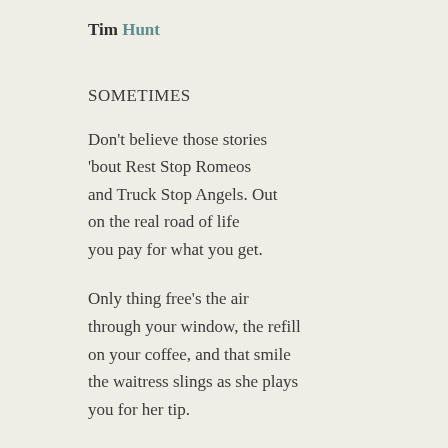Tim Hunt
SOMETIMES
Don't believe those stories
'bout Rest Stop Romeos
and Truck Stop Angels. Out
on the real road of life
you pay for what you get.
Only thing free's the air
through your window, the refill
on your coffee, and that smile
the waitress slings as she plays
you for her tip.